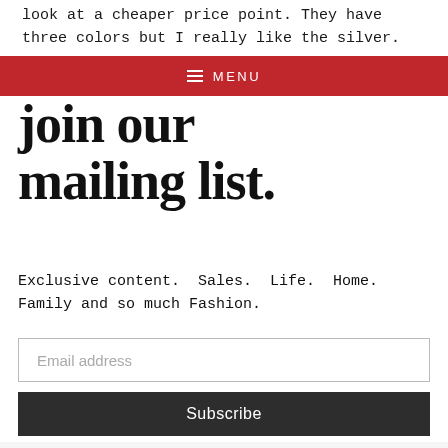look at a cheaper price point. They have three colors but I really like the silver.
MENU
join our mailing list.
Exclusive content.  Sales.  Life.  Home.  Family and so much Fashion.
Email address
Subscribe
[Figure (photo): White plate or curved white object partially visible at bottom of page]